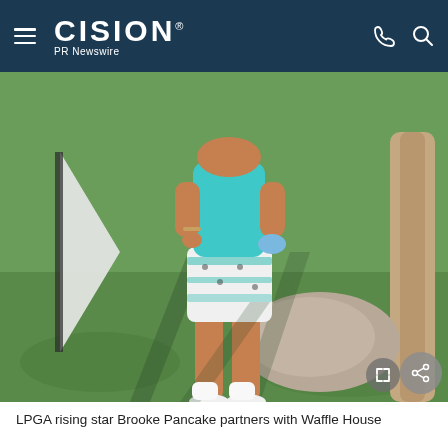CISION PR Newswire
[Figure (photo): LPGA golfer Brooke Pancake standing on a golf course wearing a teal/blue top and patterned white-and-teal shorts with a golf glove, with green grass, a palm tree trunk, and dappled sunlight and shadows in the background.]
LPGA rising star Brooke Pancake partners with Waffle House